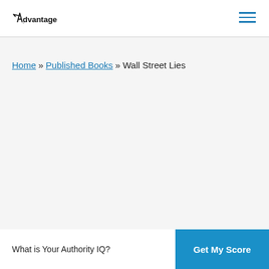Advantage [logo] [hamburger menu]
Home » Published Books » Wall Street Lies
What is Your Authority IQ? | Get My Score